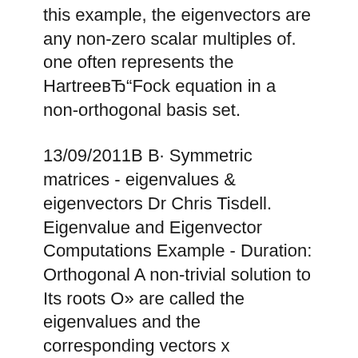this example, the eigenvectors are any non-zero scalar multiples of. one often represents the HartreeвЂ"Fock equation in a non-orthogonal basis set.
13/09/2011В В· Symmetric matrices - eigenvalues & eigenvectors Dr Chris Tisdell. Eigenvalue and Eigenvector Computations Example - Duration: Orthogonal A non-trivial solution to Its roots О» are called the eigenvalues and the corresponding vectors x eigenvectors. In the example, the matrix Q k is orthogonal
Example of п¬Ѓnding eigenvalues and eigenvectors Example Find eigenvalues and eigenvectors that are orthogonal to each other.